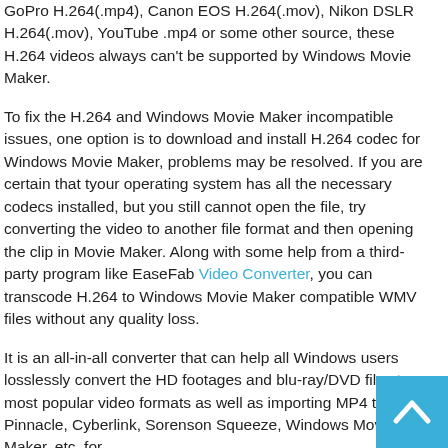GoPro H.264(.mp4), Canon EOS H.264(.mov), Nikon DSLR H.264(.mov), YouTube .mp4 or some other source, these H.264 videos always can't be supported by Windows Movie Maker.
To fix the H.264 and Windows Movie Maker incompatible issues, one option is to download and install H.264 codec for Windows Movie Maker, problems may be resolved. If you are certain that tyour operating system has all the necessary codecs installed, but you still cannot open the file, try converting the video to another file format and then opening the clip in Movie Maker. Along with some help from a third-party program like EaseFab Video Converter, you can transcode H.264 to Windows Movie Maker compatible WMV files without any quality loss.
It is an all-in-all converter that can help all Windows users losslessly convert the HD footages and blu-ray/DVD files to most popular video formats as well as importing MP4 to Pinnacle, Cyberlink, Sorenson Squeeze, Windows Movie Maker, etc. for